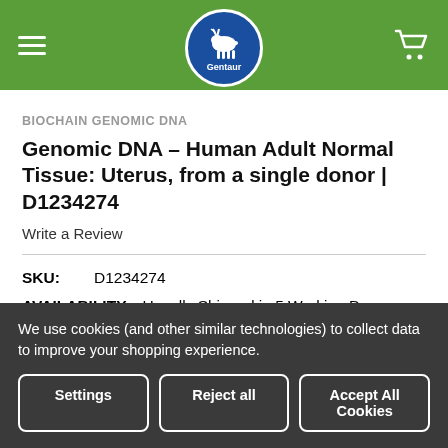Gentaur — navigation header with logo and cart
BIOCHAIN GENOMIC DNA
Genomic DNA – Human Adult Normal Tissue: Uterus, from a single donor | D1234274
Write a Review
SKU: D1234274
AVAILABILITY: Usually Shipped in 5 Working Days
We use cookies (and other similar technologies) to collect data to improve your shopping experience.